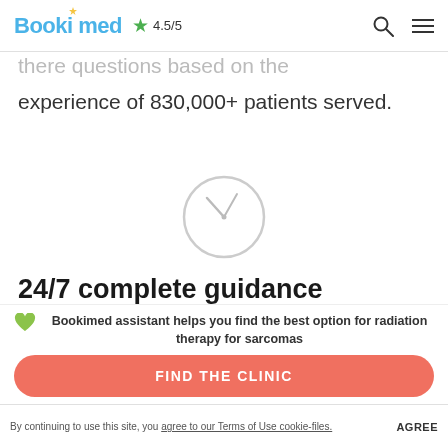Bookimed ★ 4.5/5
there questions based on the experience of 830,000+ patients served.
[Figure (illustration): Clock icon circle with hour and minute hands showing approximately 10:10]
24/7 complete guidance
You are never alone during your medical trip. Our team is on hand
Bookimed assistant helps you find the best option for radiation therapy for sarcomas
FIND THE CLINIC
By continuing to use this site, you agree to our Terms of Use cookie-files. AGREE